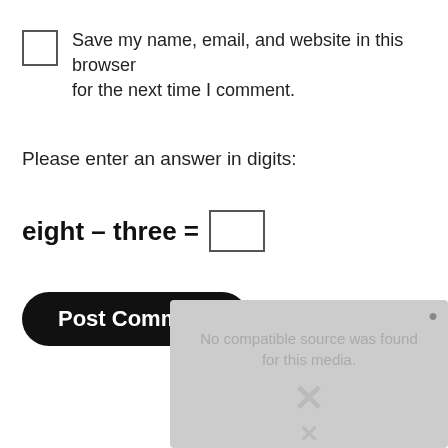Save my name, email, and website in this browser for the next time I comment.
Please enter an answer in digits:
Post Comment
[Figure (screenshot): Video player overlay showing 'No compatible source was found for this media.' with a close button and X icons]